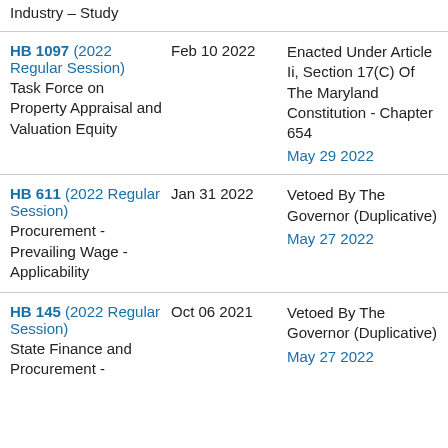Industry – Study
HB 1097 (2022 Regular Session) Task Force on Property Appraisal and Valuation Equity | Feb 10 2022 | Enacted Under Article Ii, Section 17(C) Of The Maryland Constitution - Chapter 654 | May 29 2022
HB 611 (2022 Regular Session) Procurement - Prevailing Wage - Applicability | Jan 31 2022 | Vetoed By The Governor (Duplicative) | May 27 2022
HB 145 (2022 Regular Session) State Finance and Procurement - | Oct 06 2021 | Vetoed By The Governor (Duplicative) | May 27 2022